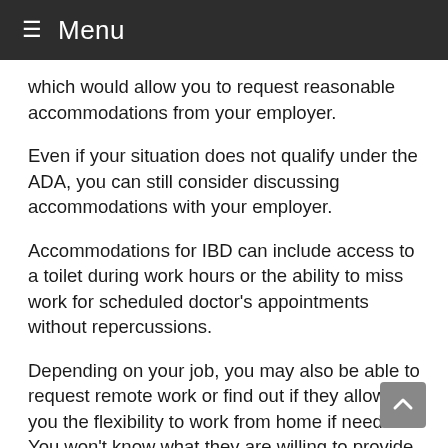≡ Menu
which would allow you to request reasonable accommodations from your employer.
Even if your situation does not qualify under the ADA, you can still consider discussing accommodations with your employer.
Accommodations for IBD can include access to a toilet during work hours or the ability to miss work for scheduled doctor's appointments without repercussions.
Depending on your job, you may also be able to request remote work or find out if they allow you the flexibility to work from home if needed. You won't know what they are willing to provide unless you ask.